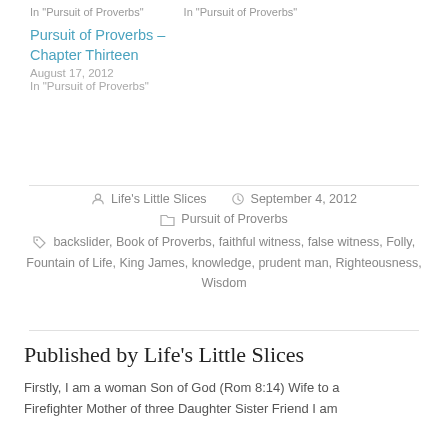In "Pursuit of Proverbs"   In "Pursuit of Proverbs"
Pursuit of Proverbs – Chapter Thirteen
August 17, 2012
In "Pursuit of Proverbs"
Life's Little Slices   September 4, 2012
Pursuit of Proverbs
backslider, Book of Proverbs, faithful witness, false witness, Folly, Fountain of Life, King James, knowledge, prudent man, Righteousness, Wisdom
Published by Life's Little Slices
Firstly, I am a woman Son of God (Rom 8:14) Wife to a Firefighter Mother of three Daughter Sister Friend I am